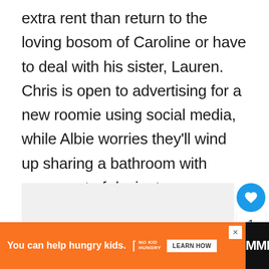extra rent than return to the loving bosom of Caroline or have to deal with his sister, Lauren. Chris is open to advertising for a new roomie using social media, while Albie worries they'll wind up sharing a bathroom with some sort of deviant.
[Figure (screenshot): Gray content area with like button (heart, count 1), share button, and BuddyTV 'What's Next' widget on the right side]
[Figure (infographic): Orange advertisement bar at the bottom: 'You can help hungry kids.' with No Kid Hungry logo and LEARN HOW button, on a dark background with a TV network logo on the right]